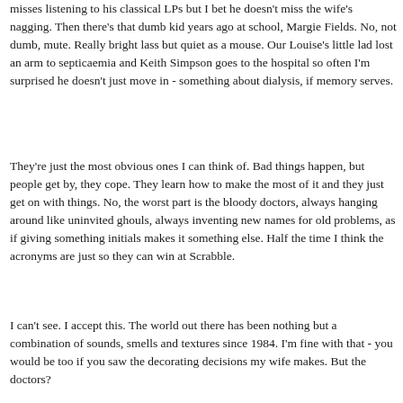misses listening to his classical LPs but I bet he doesn't miss the wife's nagging. Then there's that dumb kid years ago at school, Margie Fields. No, not dumb, mute. Really bright lass but quiet as a mouse. Our Louise's little lad lost an arm to septicaemia and Keith Simpson goes to the hospital so often I'm surprised he doesn't just move in - something about dialysis, if memory serves.
They're just the most obvious ones I can think of. Bad things happen, but people get by, they cope. They learn how to make the most of it and they just get on with things. No, the worst part is the bloody doctors, always hanging around like uninvited ghouls, always inventing new names for old problems, as if giving something initials makes it something else. Half the time I think the acronyms are just so they can win at Scrabble.
I can't see. I accept this. The world out there has been nothing but a combination of sounds, smells and textures since 1984. I'm fine with that - you would be too if you saw the decorating decisions my wife makes. But the doctors?